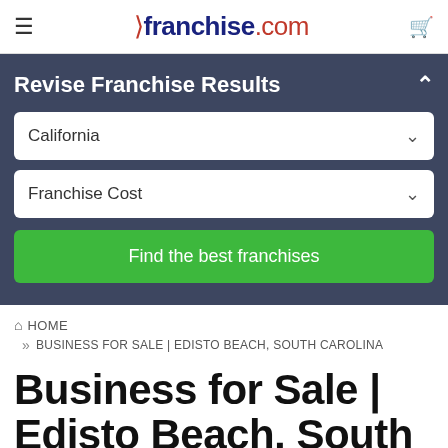franchise.com
Revise Franchise Results
California
Franchise Cost
Find the best franchises
HOME
BUSINESS FOR SALE | EDISTO BEACH, SOUTH CAROLINA
Business for Sale | Edisto Beach, South Carolina